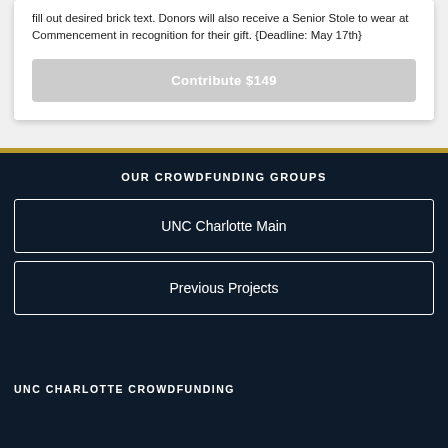fill out desired brick text. Donors will also receive a Senior Stole to wear at Commencement in recognition for their gift. {Deadline: May 17th}
Contribute $149
OUR CROWDFUNDING GROUPS
UNC Charlotte Main
Previous Projects
UNC CHARLOTTE CROWDFUNDING